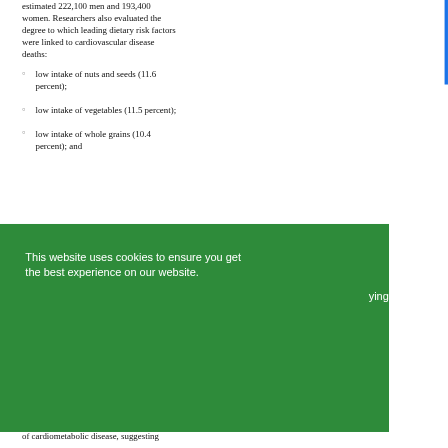estimated 222,100 men and 193,400 women. Researchers also evaluated the degree to which leading dietary risk factors were linked to cardiovascular disease deaths:
low intake of nuts and seeds (11.6 percent);
low intake of vegetables (11.5 percent);
low intake of whole grains (10.4 percent); and
[Figure (screenshot): Green cookie consent banner overlaying the page content. Contains text: 'This website uses cookies to ensure you get the best experience on our website.' with a black 'Got it!' button. A green promotional circle with 'GET 10% OFF' text overlaps the bottom-left of the banner. A gray back button and up-arrow circle are partially visible. Partial text 'ying', 'to', and 's.' visible at right edge.]
of cardiometabolic disease, suggesting...